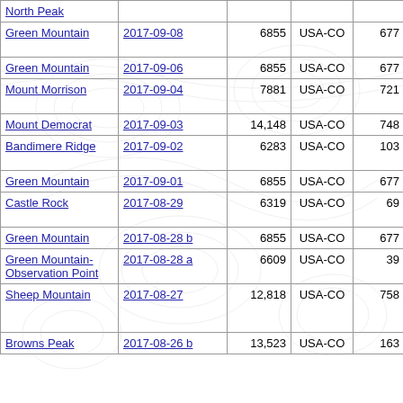| Name | Date | Elev | Region | Gain | Route/Notes |
| --- | --- | --- | --- | --- | --- |
| North Peak |  |  |  |  | scamble |
| Green Mountain | 2017-09-08 | 6855 | USA-CO | 677 | loop off lower expedition drive |
| Green Mountain | 2017-09-06 | 6855 | USA-CO | 677 | north access loop hike |
| Mount Morrison | 2017-09-04 | 7881 | USA-CO | 721 | main trail from red rocks Titan Road |
| Mount Democrat | 2017-09-03 | 14,148 | USA-CO | 748 | Kite Lake Trail |
| Bandimere Ridge | 2017-09-02 | 6283 | USA-CO | 103 | paved info trail to Dakota Trail |
| Green Mountain | 2017-09-01 | 6855 | USA-CO | 677 | West Expedition |
| Castle Rock | 2017-08-29 | 6319 | USA-CO | 69 | road to Elk Trail to open to scramble |
| Green Mountain | 2017-08-28 b | 6855 | USA-CO | 677 | standard |
| Green Mountain-Observation Point | 2017-08-28 a | 6609 | USA-CO | 39 | North Access and one offroute |
| Sheep Mountain | 2017-08-27 | 12,818 | USA-CO | 758 | Limber Trail over to Sheep Trail to open country |
| Browns Peak | 2017-08-26 b | 13,523 | USA-CO | 163 | see TR |